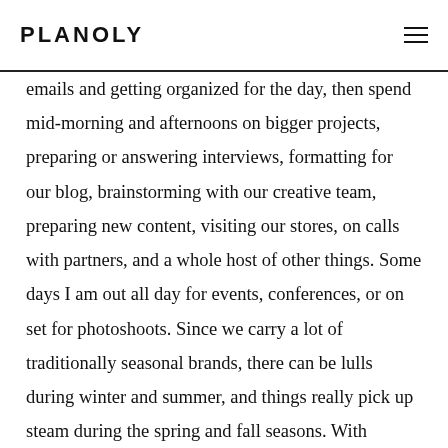PLANOLY
emails and getting organized for the day, then spend mid-morning and afternoons on bigger projects, preparing or answering interviews, formatting for our blog, brainstorming with our creative team, preparing new content, visiting our stores, on calls with partners, and a whole host of other things. Some days I am out all day for events, conferences, or on set for photoshoots. Since we carry a lot of traditionally seasonal brands, there can be lulls during winter and summer, and things really pick up steam during the spring and fall seasons. With Instagram, I spent the first two years doing all our posts myself every day, which at first included a lot of content I was creating on my phone and in my day-to-day life (I was also blogging at the time, so I would